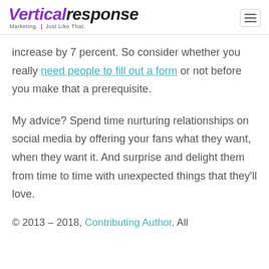VerticalResponse Marketing. Just Like That.
increase by 7 percent. So consider whether you really need people to fill out a form or not before you make that a prerequisite.
My advice? Spend time nurturing relationships on social media by offering your fans what they want, when they want it. And surprise and delight them from time to time with unexpected things that they'll love.
© 2013 – 2018, Contributing Author. All